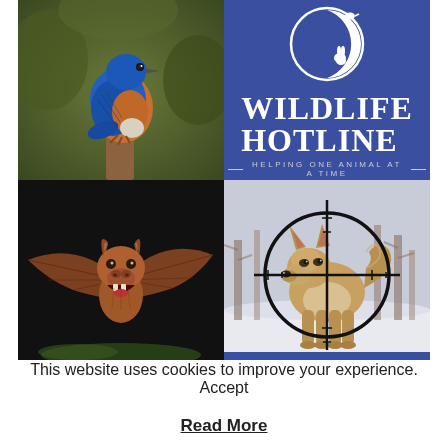[Figure (photo): Photo of a bluebird (Eastern Bluebird) perched on a wooden post, showing vivid blue plumage on wings and head, orange-brown breast, white belly, green blurred background.]
[Figure (logo): Wildlife Hotline logo on dark blue background. Circular crescent moon motif with silhouettes of dog, bird, rabbit. Text: WILDLIFE HOTLINE — Helping One Animal At A Time —]
[Figure (illustration): Illustration/painting of a brown bat with wings spread, open mouth showing teeth, on dark background.]
[Figure (photo): Photo of a coyote in snowy winter landscape overlaid with a rifle scope crosshair circle, trees in background.]
This website uses cookies to improve your experience. Accept
Read More